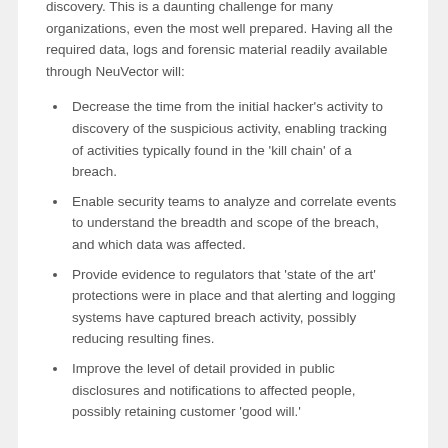discovery. This is a daunting challenge for many organizations, even the most well prepared. Having all the required data, logs and forensic material readily available through NeuVector will:
Decrease the time from the initial hacker's activity to discovery of the suspicious activity, enabling tracking of activities typically found in the 'kill chain' of a breach.
Enable security teams to analyze and correlate events to understand the breadth and scope of the breach, and which data was affected.
Provide evidence to regulators that 'state of the art' protections were in place and that alerting and logging systems have captured breach activity, possibly reducing resulting fines.
Improve the level of detail provided in public disclosures and notifications to affected people, possibly retaining customer 'good will.'